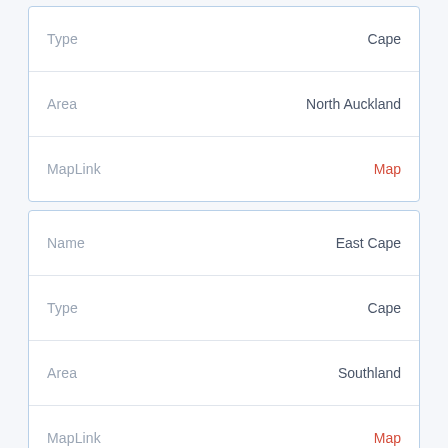| Field | Value |
| --- | --- |
| Type | Cape |
| Area | North Auckland |
| MapLink | Map |
| Field | Value |
| --- | --- |
| Name | East Cape |
| Type | Cape |
| Area | Southland |
| MapLink | Map |
| Field | Value |
| --- | --- |
| Name | East Cape Scenic Reserve |
| Type | Scenic Reserve |